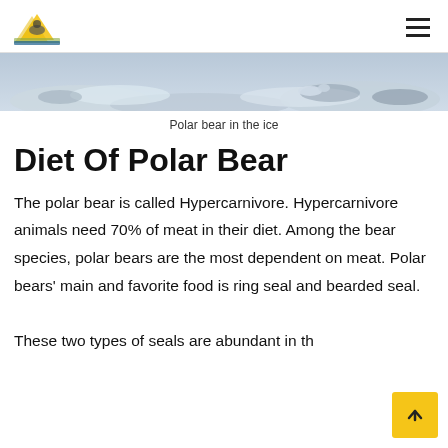[Logo] [Hamburger menu]
[Figure (photo): A wide banner photograph showing a polar bear lying in or near ice and snow, muted blue-grey tones.]
Polar bear in the ice
Diet Of Polar Bear
The polar bear is called Hypercarnivore. Hypercarnivore animals need 70% of meat in their diet. Among the bear species, polar bears are the most dependent on meat. Polar bears' main and favorite food is ring seal and bearded seal. These two types of seals are abundant in th…